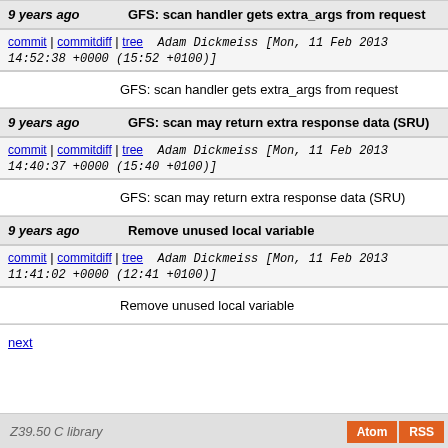9 years ago  GFS: scan handler gets extra_args from request
commit | commitdiff | tree   Adam Dickmeiss [Mon, 11 Feb 2013 14:52:38 +0000 (15:52 +0100)]
GFS: scan handler gets extra_args from request
9 years ago  GFS: scan may return extra response data (SRU)
commit | commitdiff | tree   Adam Dickmeiss [Mon, 11 Feb 2013 14:40:37 +0000 (15:40 +0100)]
GFS: scan may return extra response data (SRU)
9 years ago  Remove unused local variable
commit | commitdiff | tree   Adam Dickmeiss [Mon, 11 Feb 2013 11:41:02 +0000 (12:41 +0100)]
Remove unused local variable
next
Z39.50 C library  Atom RSS